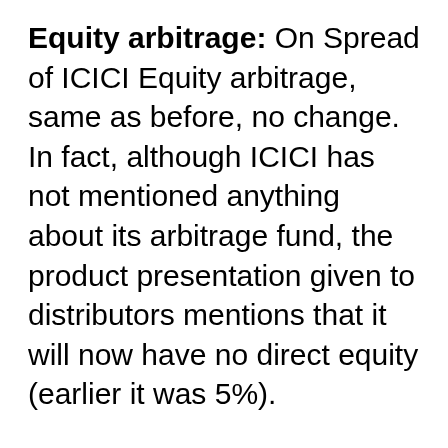Equity arbitrage: On Spread of ICICI Equity arbitrage, same as before, no change. In fact, although ICICI has not mentioned anything about its arbitrage fund, the product presentation given to distributors mentions that it will now have no direct equity (earlier it was 5%).
To understand the debt fund choices, you need to learn more about interest rate risk, credit rating risk, floating rate bonds, etc.